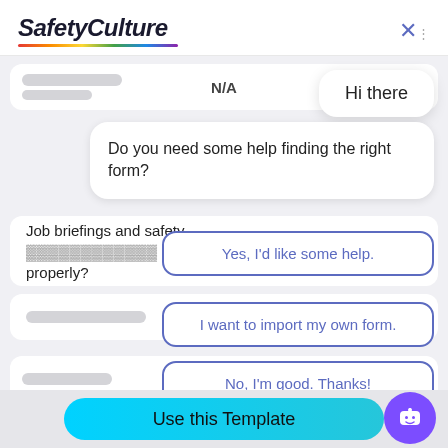[Figure (screenshot): SafetyCulture app interface showing a chatbot overlay on a form page. The chatbot asks 'Hi there' and 'Do you need some help finding the right form?' with three reply options: 'Yes, I'd like some help.', 'I want to import my own form.', and 'No, I'm good. Thanks!'. Behind the chat overlay are form list items with N/A answers and 'Job briefings and safety... properly?' text. At the bottom is a 'Use this Template' button and a purple chatbot icon.]
Hi there
Do you need some help finding the right form?
Yes, I'd like some help.
I want to import my own form.
No, I'm good. Thanks!
Job briefings and safety properly?
N/A
N/A
Use this Template